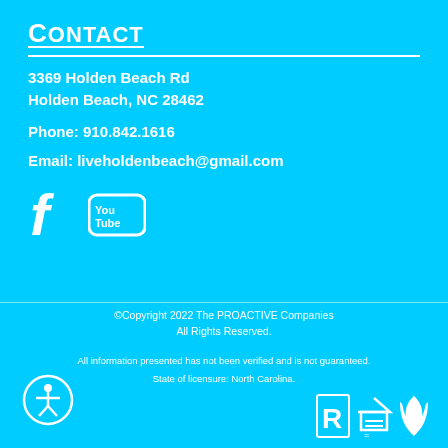Contact
3369 Holden Beach Rd
Holden Beach, NC 28462
Phone: 910.842.1616
Email: liveholdenbeach@gmail.com
[Figure (logo): Facebook and YouTube social media icons in white]
©Copyright 2022 The PROACTIVE Companies
All Rights Reserved.

All information presented has not been verified and is not guaranteed.

State of licensure: North Carolina.
[Figure (logo): Accessibility icon (person in circle), realtor logo, equal housing logo, and flame/BBB logo in white at bottom]